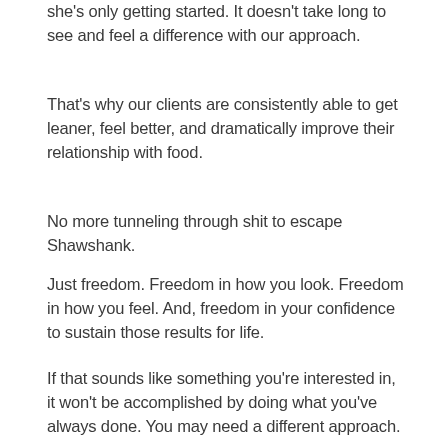she's only getting started. It doesn't take long to see and feel a difference with our approach.
That's why our clients are consistently able to get leaner, feel better, and dramatically improve their relationship with food.
No more tunneling through shit to escape Shawshank.
Just freedom. Freedom in how you look. Freedom in how you feel. And, freedom in your confidence to sustain those results for life.
If that sounds like something you're interested in, it won't be accomplished by doing what you've always done. You may need a different approach.